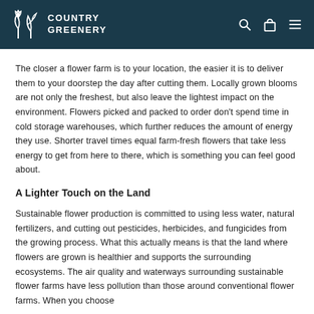COUNTRY GREENERY
The closer a flower farm is to your location, the easier it is to deliver them to your doorstep the day after cutting them. Locally grown blooms are not only the freshest, but also leave the lightest impact on the environment. Flowers picked and packed to order don't spend time in cold storage warehouses, which further reduces the amount of energy they use. Shorter travel times equal farm-fresh flowers that take less energy to get from here to there, which is something you can feel good about.
A Lighter Touch on the Land
Sustainable flower production is committed to using less water, natural fertilizers, and cutting out pesticides, herbicides, and fungicides from the growing process. What this actually means is that the land where flowers are grown is healthier and supports the surrounding ecosystems. The air quality and waterways surrounding sustainable flower farms have less pollution than those around conventional flower farms. When you choose sustainable flowers, you are actively supporting that trend.